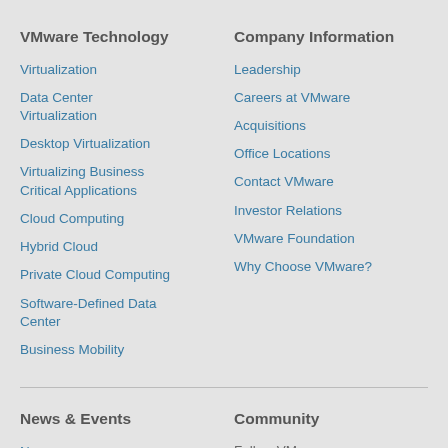VMware Technology
Virtualization
Data Center Virtualization
Desktop Virtualization
Virtualizing Business Critical Applications
Cloud Computing
Hybrid Cloud
Private Cloud Computing
Software-Defined Data Center
Business Mobility
Company Information
Leadership
Careers at VMware
Acquisitions
Office Locations
Contact VMware
Investor Relations
VMware Foundation
Why Choose VMware?
News & Events
Newsroom
Articles
Events
Community
Follow VMware
Cookie Settings